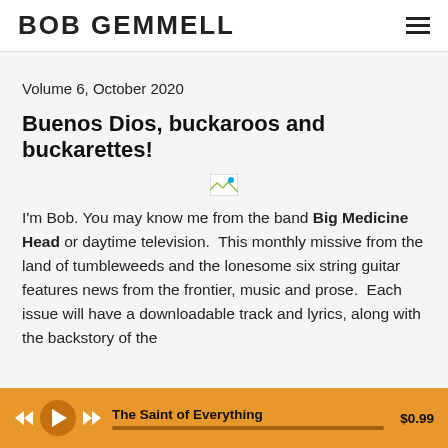BOB GEMMELL
Volume 6, October 2020
Buenos Dios, buckaroos and buckarettes!
[Figure (other): Broken/missing image placeholder]
I'm Bob. You may know me from the band Big Medicine Head or daytime television.  This monthly missive from the land of tumbleweeds and the lonesome six string guitar features news from the frontier, music and prose.  Each issue will have a downloadable track and lyrics, along with the backstory of the
The Saint of Everything  $0.99